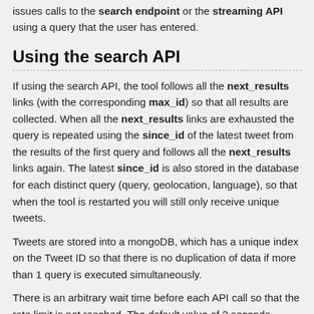issues calls to the search endpoint or the streaming API using a query that the user has entered.
Using the search API
If using the search API, the tool follows all the next_results links (with the corresponding max_id) so that all results are collected. When all the next_results links are exhausted the query is repeated using the since_id of the latest tweet from the results of the first query and follows all the next_results links again. The latest since_id is also stored in the database for each distinct query (query, geolocation, language), so that when the tool is restarted you will still only receive unique tweets.
Tweets are stored into a mongoDB, which has a unique index on the Tweet ID so that there is no duplication of data if more than 1 query is executed simultaneously.
There is an arbitrary wait time before each API call so that the rate limit is not reached. The default value of 2 seconds makes sure that there are no more than 450 requests per 15 minutes as is the rate limit of the search endpoint for authenticating with the app (not the